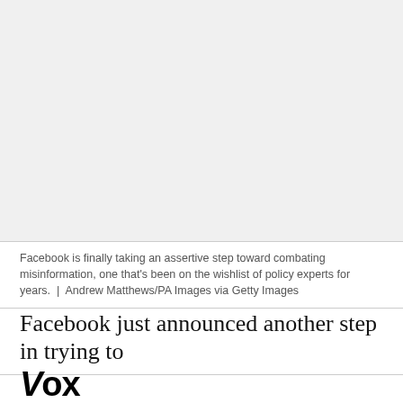[Figure (photo): A large image placeholder occupying the top portion of the page, appears to be a news article photo related to Facebook/misinformation policy.]
Facebook is finally taking an assertive step toward combating misinformation, one that’s been on the wishlist of policy experts for years.  |  Andrew Matthews/PA Images via Getty Images
Facebook just announced another step in trying to
Vox